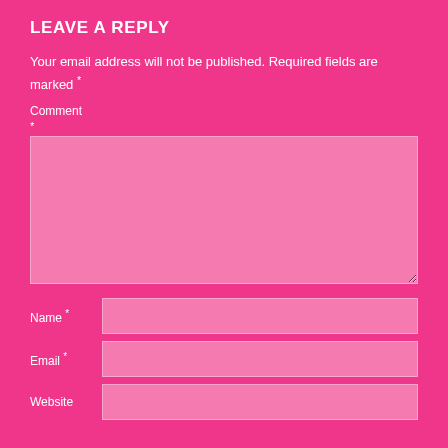LEAVE A REPLY
Your email address will not be published. Required fields are marked *
Comment
*
[Figure (other): Large comment textarea input box with resize handle]
Name *
Email *
Website